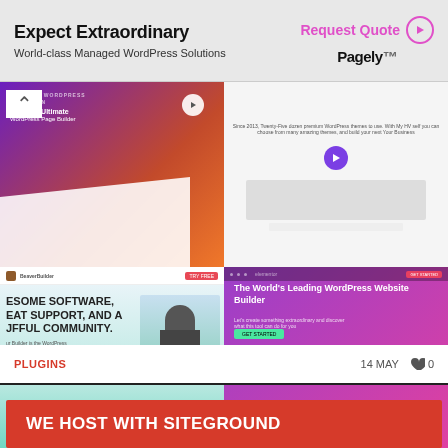[Figure (screenshot): Pagely banner ad: 'Expect Extraordinary — World-class Managed WordPress Solutions' with Request Quote button]
[Figure (screenshot): Composite screenshot showing 5 WordPress page builder websites: purple WordPress themes site, video builder site, Beaver Builder, Elementor, SeedProd, and Divi (donut worry)]
5 BEST DRAG AND DROP PAGE BUILDERS FOR WORDPRESS
PLUGINS   14 MAY  ♥ 0
WE HOST WITH SITEGROUND